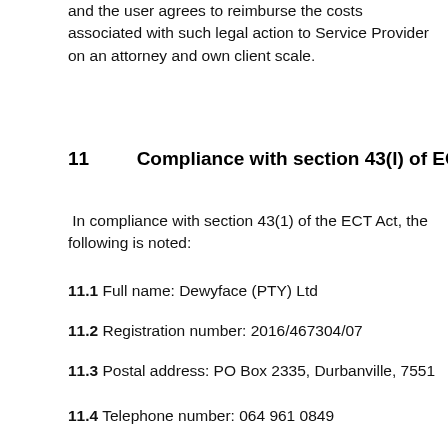and the user agrees to reimburse the costs associated with such legal action to Service Provider on an attorney and own client scale.
11 Compliance with section 43(l) of ECT Act
In compliance with section 43(1) of the ECT Act, the following is noted:
11.1 Full name: Dewyface (PTY) Ltd
11.2 Registration number: 2016/467304/07
11.3 Postal address: PO Box 2335, Durbanville, 7551
11.4 Telephone number: 064 961 0849